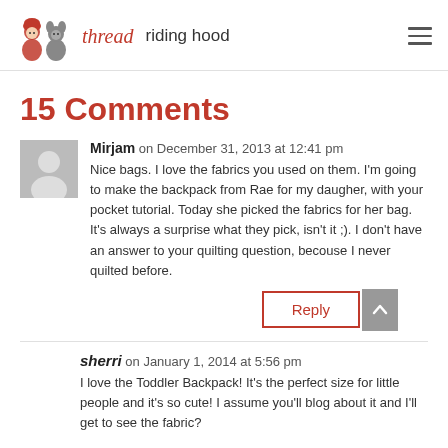thread riding hood
15 Comments
Mirjam on December 31, 2013 at 12:41 pm
Nice bags. I love the fabrics you used on them. I'm going to make the backpack from Rae for my daugher, with your pocket tutorial. Today she picked the fabrics for her bag. It's always a surprise what they pick, isn't it ;). I don't have an answer to your quilting question, becouse I never quilted before.
sherri on January 1, 2014 at 5:56 pm
I love the Toddler Backpack! It's the perfect size for little people and it's so cute! I assume you'll blog about it and I'll get to see the fabric?